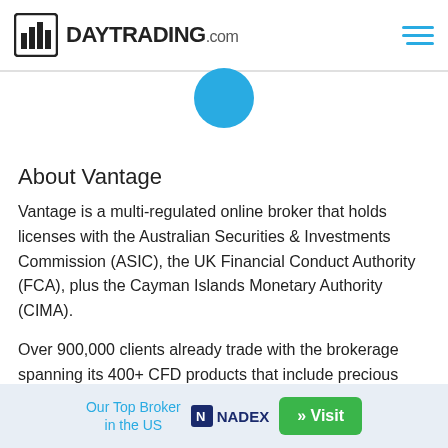DAYTRADING.com
[Figure (illustration): Partially visible blue circle below header]
About Vantage
Vantage is a multi-regulated online broker that holds licenses with the Australian Securities & Investments Commission (ASIC), the UK Financial Conduct Authority (FCA), plus the Cayman Islands Monetary Authority (CIMA).
Over 900,000 clients already trade with the brokerage spanning its 400+ CFD products that include precious metals like gold, stocks and shares, plus major, minor and exotic currencies. A growing list of
Our Top Broker in the US  NADEX  » Visit